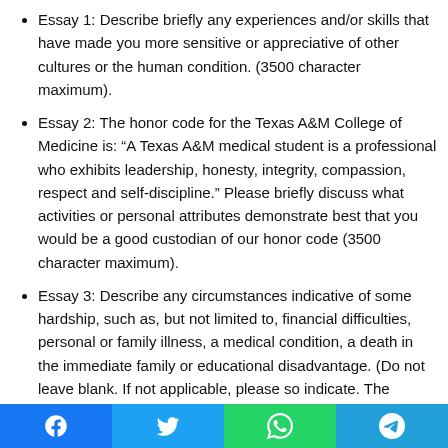Essay 1: Describe briefly any experiences and/or skills that have made you more sensitive or appreciative of other cultures or the human condition. (3500 character maximum).
Essay 2: The honor code for the Texas A&M College of Medicine is: “A Texas A&M medical student is a professional who exhibits leadership, honesty, integrity, compassion, respect and self-discipline.” Please briefly discuss what activities or personal attributes demonstrate best that you would be a good custodian of our honor code (3500 character maximum).
Essay 3: Describe any circumstances indicative of some hardship, such as, but not limited to, financial difficulties, personal or family illness, a medical condition, a death in the immediate family or educational disadvantage. (Do not leave blank. If not applicable, please so indicate. The